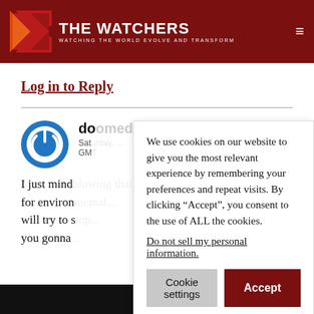[Figure (logo): The Watchers website header with red/orange logo, site name THE WATCHERS, tagline WATCHING THE WORLD EVOLVE AND TRANSFORM, and hamburger menu icon]
Log in to Reply
doomed
Sat ... GMT
I just mind ... for environ ... will try to s ... you gonna
We use cookies on our website to give you the most relevant experience by remembering your preferences and repeat visits. By clicking “Accept”, you consent to the use of ALL the cookies.
Do not sell my personal information.
Cookie settings
Accept